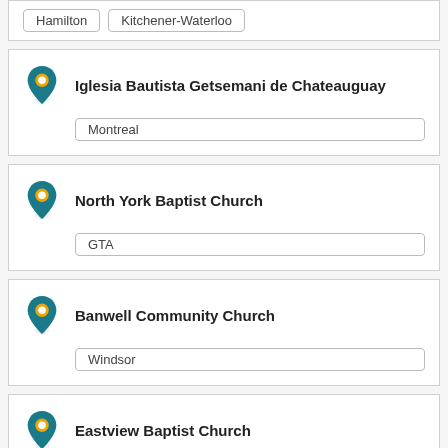Hamilton, Kitchener-Waterloo
Iglesia Bautista Getsemani de Chateauguay — Montreal
North York Baptist Church — GTA
Banwell Community Church — Windsor
Eastview Baptist Church — Ottawa